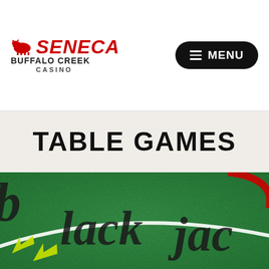[Figure (logo): Seneca Buffalo Creek Casino logo with red bison icon, red italic SENECA text, bold BUFFALO CREEK text, and CASINO text]
[Figure (other): Black rounded rectangle menu button with hamburger icon and MENU text in white]
TABLE GAMES
[Figure (photo): Close-up photograph of a green casino felt table surface with black cursive script text, white curved line, yellow-green arrows, and partial red circular design visible]